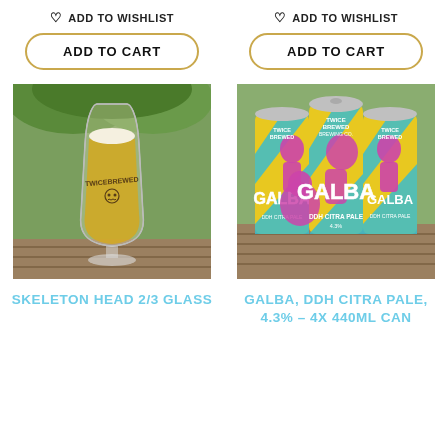♡ ADD TO WISHLIST
ADD TO CART
♡ ADD TO WISHLIST
ADD TO CART
[Figure (photo): A tall pilsner-style glass filled with golden hazy beer, set on a wooden deck with green foliage in the background. The glass has a Twice Brewed Brewing Co skeleton head logo on it.]
[Figure (photo): Four cans of Galba DDH Citra Pale Ale arranged in a group on a wooden surface. The cans feature a colorful pop-art design with yellow, teal, and pink tones showing a Roman emperor figure. Branding reads Twice Brewed Brewing Co and GALBA DDH Citra Pale.]
SKELETON HEAD 2/3 GLASS
GALBA, DDH CITRA PALE, 4.3% – 4X 440ML CAN